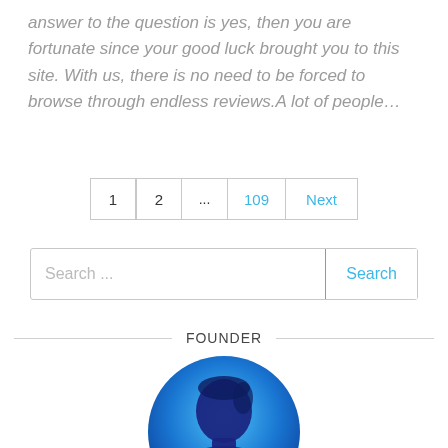answer to the question is yes, then you are fortunate since your good luck brought you to this site. With us, there is no need to be forced to browse through endless reviews.A lot of people…
[Figure (other): Pagination controls showing page buttons: 1, 2, ..., 109, Next]
[Figure (other): Search bar with placeholder 'Search ...' and a Search button]
FOUNDER
[Figure (photo): Circular avatar showing a blue-toned silhouette profile of a person on a bright blue background]